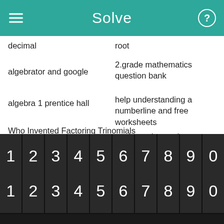Solve
decimal
root
algebrator and google
2.grade mathematics question bank
algebra 1 prentice hall
help understanding a numberline and free worksheets
Who Invented Factoring Trinomials
modern advanced accounting 10th edition teacher's
college algebra cheat sheets
"story problem examples"
[Figure (screenshot): Mobile math keyboard with digit row (1-0), symbol row (. , < > ≤ ≥ x^□ √□ backspace arrows), function row (f(x) x□ fraction absolute-value parentheses * / delete), and variable row (abc ↺ x y = + - Solve! button)]